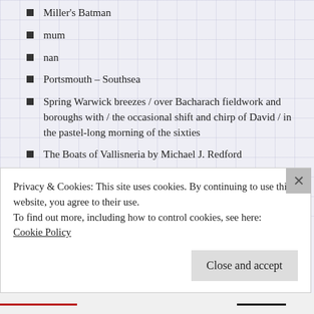Miller's Batman
mum
nan
Portsmouth – Southsea
Spring Warwick breezes / over Bacharach fieldwork and boroughs with / the occasional shift and chirp of David / in the pastel-long morning of the sixties
The Boats of Vallisneria by Michael J. Redford
through the crash
index
#A-E see!
F–K, wha' th'
L-P 33 1/3 rpm
Privacy & Cookies: This site uses cookies. By continuing to use this website, you agree to their use.
To find out more, including how to control cookies, see here: Cookie Policy
Close and accept